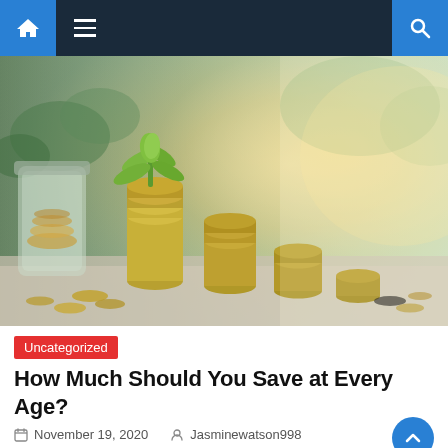Navigation bar with home icon, menu icon, and search icon
[Figure (photo): Photo of stacked coins with a green plant seedling growing from the top, and a glass jar of coins in the background, symbolizing financial growth and savings.]
Uncategorized
How Much Should You Save at Every Age?
November 19, 2020   Jasminewatson998
You all know that saving is essential to ride out during financial emergencies, but how much should you save?